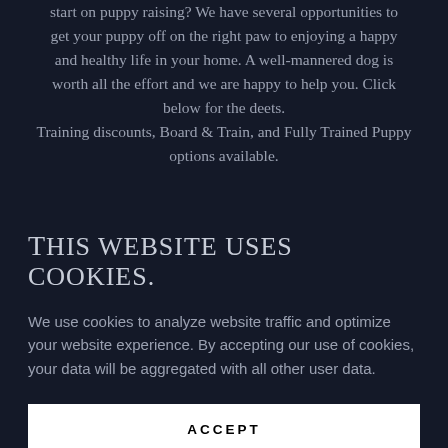start on puppy raising? We have several opportunities to get your puppy off on the right paw to enjoying a happy and healthy life in your home. A well-mannered dog is worth all the effort and we are happy to help you. Click below for the deets.
Training discounts, Board & Train, and Fully Trained Puppy options available.
This website uses cookies.
We use cookies to analyze website traffic and optimize your website experience. By accepting our use of cookies, your data will be aggregated with all other user data.
ACCEPT